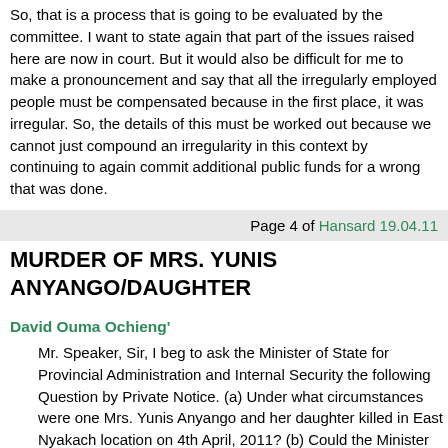So, that is a process that is going to be evaluated by the committee. I want to state again that part of the issues raised here are now in court. But it would also be difficult for me to make a pronouncement and say that all the irregularly employed people must be compensated because in the first place, it was irregular. So, the details of this must be worked out because we cannot just compound an irregularity in this context by continuing to again commit additional public funds for a wrong that was done.
Page 4 of Hansard 19.04.11
MURDER OF MRS. YUNIS ANYANGO/DAUGHTER
David Ouma Ochieng'
Mr. Speaker, Sir, I beg to ask the Minister of State for Provincial Administration and Internal Security the following Question by Private Notice. (a) Under what circumstances were one Mrs. Yunis Anyango and her daughter killed in East Nyakach location on 4th April, 2011? (b) Could the Minister provide a list of people who have been killed in similar circumstances in Nyakach, Ainamoi and Belgut from 2008 to date as well as an update on the investigations of the respective killings? (c) What measures